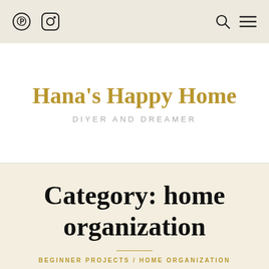Navigation bar with Pinterest icon, Instagram icon, search icon, and menu icon
Hana's Happy Home
DIYer And Dreamer
Category: home organization
BEGINNER PROJECTS / HOME ORGANIZATION